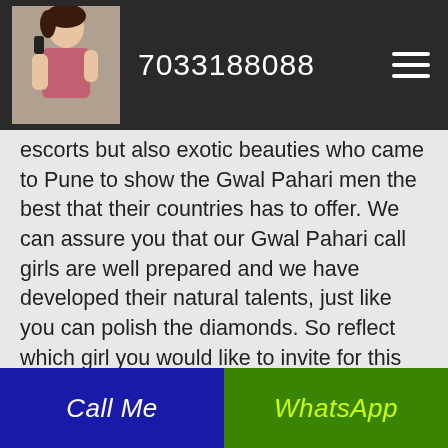7033188088
escorts but also exotic beauties who came to Pune to show the Gwal Pahari men the best that their countries has to offer. We can assure you that our Gwal Pahari call girls are well prepared and we have developed their natural talents, just like you can polish the diamonds. So reflect which girl you would like to invite for this special evening as the One' is surely there between our Call girls waiting for your sign or call Just think what amazing things make happen to you in Gwal Pahari in such an exceptional company.
Call Me | WhatsApp